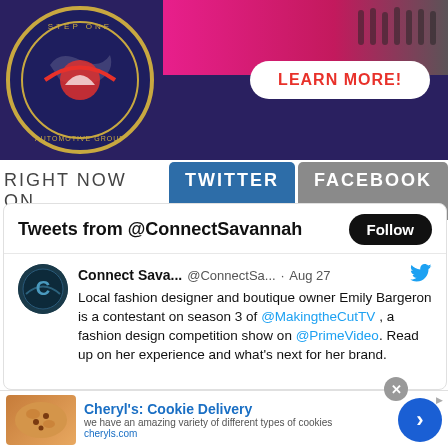[Figure (screenshot): Step One Automotive Group advertisement banner with pink car, group of people, logo, and LEARN MORE button on dark purple background]
RIGHT NOW ON TWITTER FACEBOOK
[Figure (screenshot): Twitter widget showing tweets from @ConnectSavannah with Follow button]
Tweets from @ConnectSavannah
Connect Sava... @ConnectSa... · Aug 27
Local fashion designer and boutique owner Emily Bargeron is a contestant on season 3 of @MakingtheCutTV , a fashion design competition show on @PrimeVideo. Read up on her experience and what's next for her brand.
[Figure (screenshot): Cheryl's Cookie Delivery advertisement with cookie image, title, description text, cheryls.com URL, close button, and blue arrow button]